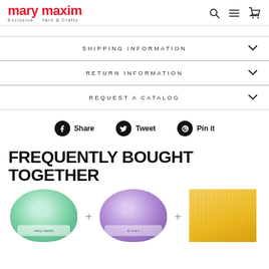[Figure (logo): Mary Maxim logo — red stylized text with 'Exclusive Yarn & Crafts' subtitle, navigation icons (search, menu, cart) on the right]
SHIPPING INFORMATION
RETURN INFORMATION
REQUEST A CATALOG
Share  Tweet  Pin it
FREQUENTLY BOUGHT TOGETHER
[Figure (photo): Three yarn product images: mint green yarn ball, purple variegated yarn ball, yellow fabric/yarn]